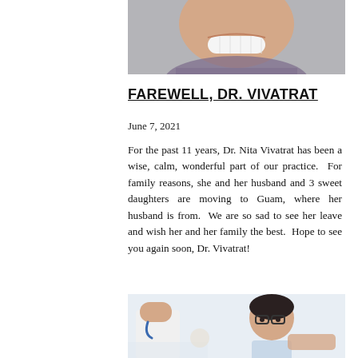[Figure (photo): Cropped photo showing bottom half of a smiling woman's face with teeth visible, wearing a patterned top, against a light grey background.]
FAREWELL, DR. VIVATRAT
June 7, 2021
For the past 11 years, Dr. Nita Vivatrat has been a wise, calm, wonderful part of our practice.  For family reasons, she and her husband and 3 sweet daughters are moving to Guam, where her husband is from.  We are so sad to see her leave and wish her and her family the best.  Hope to see you again soon, Dr. Vivatrat!
[Figure (photo): Photo of a young child with glasses receiving a medical examination or procedure from a healthcare provider in a white coat.]